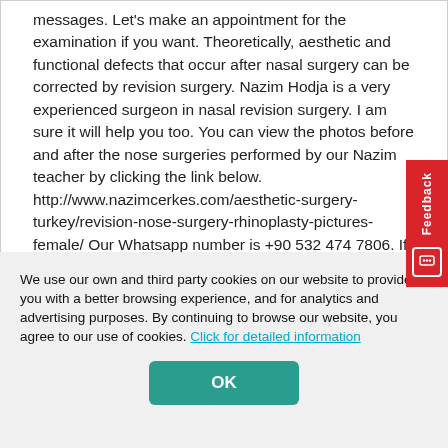messages. Let's make an appointment for the examination if you want. Theoretically, aesthetic and functional defects that occur after nasal surgery can be corrected by revision surgery. Nazim Hodja is a very experienced surgeon in nasal revision surgery. I am sure it will help you too. You can view the photos before and after the nose surgeries performed by our Nazim teacher by clicking the link below. http://www.nazimcerkes.com/aesthetic-surgery-turkey/revision-nose-surgery-rhinoplasty-pictures-female/ Our Whatsapp number is +90 532 474 7806. If you want, you can write to us on whatsapp. I wish
We use our own and third party cookies on our website to provide you with a better browsing experience, and for analytics and advertising purposes. By continuing to browse our website, you agree to our use of cookies. Click for detailed information